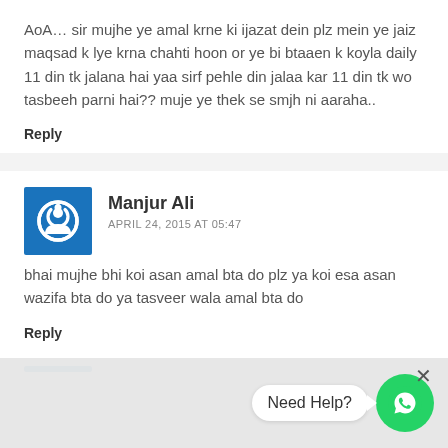AoA… sir mujhe ye amal krne ki ijazat dein plz mein ye jaiz maqsad k lye krna chahti hoon or ye bi btaaen k koyla daily 11 din tk jalana hai yaa sirf pehle din jalaa kar 11 din tk wo tasbeeh parni hai?? muje ye thek se smjh ni aaraha..
Reply
Manjur Ali
APRIL 24, 2015 AT 05:47
bhai mujhe bhi koi asan amal bta do plz ya koi esa asan wazifa bta do ya tasveer wala amal bta do
Reply
[Figure (other): Need Help? WhatsApp chat button widget at bottom right]
[Figure (other): Blue avatar bar for next comment]